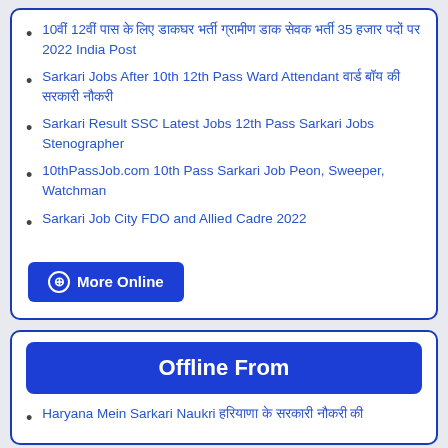10वीं 12वीं पास के लिए डाकघर भर्ती ग्रामीण डाक सेवक भर्ती 35 हजार पदों पर 2022 India Post
Sarkari Jobs After 10th 12th Pass Ward Attendant वार्ड बॉय की सरकारी नौकरी
Sarkari Result SSC Latest Jobs 12th Pass Sarkari Jobs Stenographer
10thPassJob.com 10th Pass Sarkari Job Peon, Sweeper, Watchman
Sarkari Job City FDO and Allied Cadre 2022
⊕ More Online
Offline From
Haryana Mein Sarkari Naukri हरियाणा के सरकारी नौकरी की